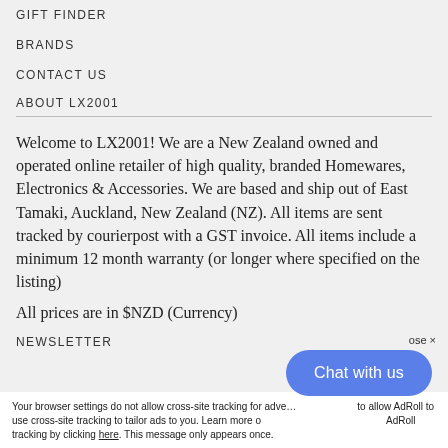GIFT FINDER
BRANDS
CONTACT US
ABOUT LX2001
Welcome to LX2001! We are a New Zealand owned and operated online retailer of high quality, branded Homewares, Electronics & Accessories. We are based and ship out of East Tamaki, Auckland, New Zealand (NZ). All items are sent tracked by courierpost with a GST invoice. All items include a minimum 12 month warranty (or longer where specified on the listing)
All prices are in $NZD (Currency)
NEWSLETTER
Your browser settings do not allow cross-site tracking for advertising. Update your browser settings to allow AdRoll to use cross-site tracking to tailor ads to you. Learn more or opt out of this AdRoll tracking by clicking here. This message only appears once.